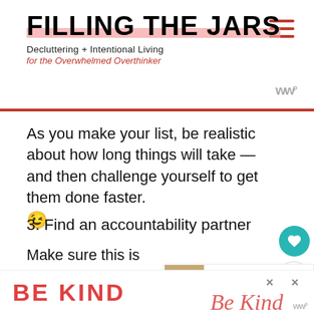FILLING THE JARS — Decluttering + Intentional Living for the Overwhelmed Overthinker
As you make your list, be realistic about how long things will take — and then challenge yourself to get them done faster. 😉
3. Find an accountability partner
Make sure this is someone who a.) actually wants to see you succeed, will be tough on you if necessary — not
[Figure (screenshot): What's Next overlay with image thumbnail and text 'How to Change You...']
[Figure (screenshot): Advertisement banner showing 'BE KIND' text in red with decorative script overlay and close buttons]